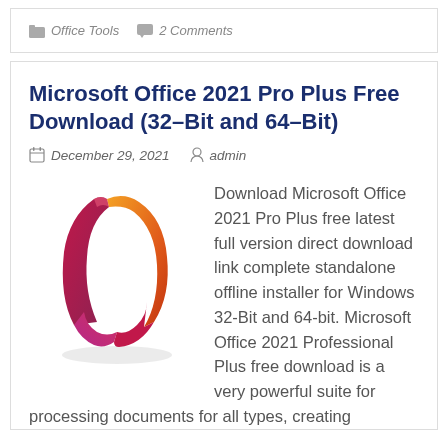Office Tools   2 Comments
Microsoft Office 2021 Pro Plus Free Download (32–Bit and 64–Bit)
December 29, 2021   admin
[Figure (logo): Microsoft Office 2021 logo - colorful angular ribbon shape in red, orange, and purple on white background]
Download Microsoft Office 2021 Pro Plus free latest full version direct download link complete standalone offline installer for Windows 32-Bit and 64-bit. Microsoft Office 2021 Professional Plus free download is a very powerful suite for processing documents for all types, creating